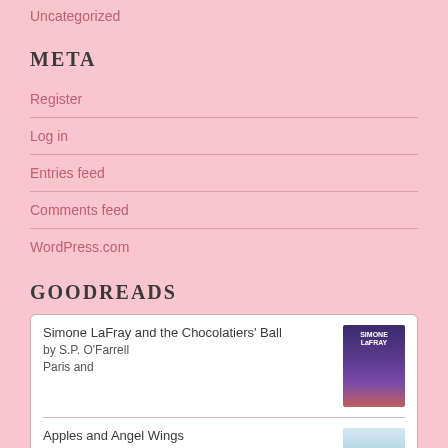Uncategorized
META
Register
Log in
Entries feed
Comments feed
WordPress.com
GOODREADS
[Figure (other): Goodreads widget showing two book entries: 'Simone LaFray and the Chocolatiers' Ball by S.P. O'Farrell, Paris and...' with a dark purple book cover, and 'Apples and Angel Wings by Katie Mettner' with a light blue book cover.]